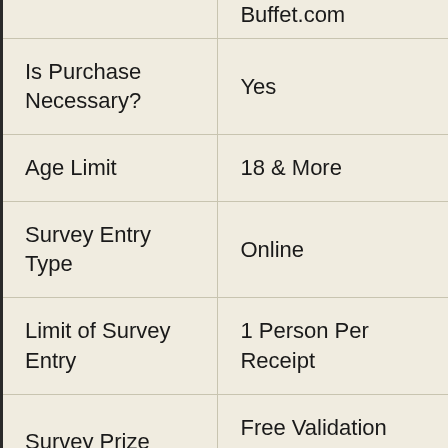|  | Buffet.com |
| Is Purchase Necessary? | Yes |
| Age Limit | 18 & More |
| Survey Entry Type | Online |
| Limit of Survey Entry | 1 Person Per Receipt |
| Survey Prize | Free Validation Code |
| Receipt Valid For... |  |